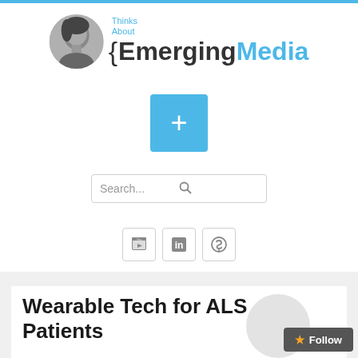[Figure (logo): Blog logo: woman's portrait photo, handwritten text 'Thinks About', curly brace, and brand name 'EmergingMedia' in bold with blue 'Media']
[Figure (screenshot): Blue square button with white plus (+) sign]
[Figure (screenshot): Search bar with placeholder text 'Search...' and search icon]
[Figure (screenshot): Three social media icon buttons: YouTube, LinkedIn, Skype]
Wearable Tech for ALS Patients